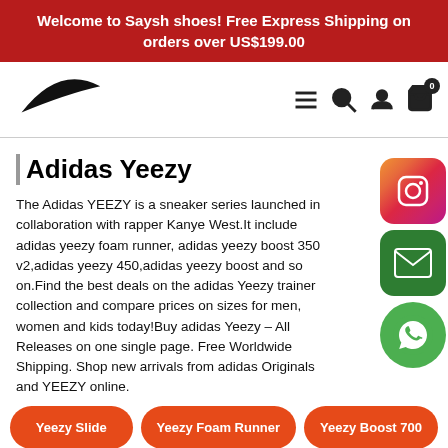Welcome to Saysh shoes! Free Express Shipping on orders over US$199.00
[Figure (logo): Nike swoosh logo]
The Adidas YEEZY is a sneaker series launched in collaboration with rapper Kanye West.It include adidas yeezy foam runner, adidas yeezy boost 350 v2,adidas yeezy 450,adidas yeezy boost and so on.Find the best deals on the adidas Yeezy trainer collection and compare prices on sizes for men, women and kids today!Buy adidas Yeezy – All Releases on one single page. Free Worldwide Shipping. Shop new arrivals from adidas Originals and YEEZY online.
Adidas Yeezy
Yeezy Slide
Yeezy Foam Runner
Yeezy Boost 700
Yeezy Boost 380
Yeezy Boost 350
Yeezy 500
Yeezy 450